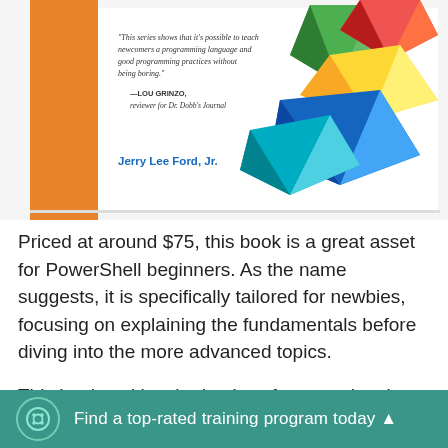[Figure (illustration): Book cover for a PowerShell beginner's book by Jerry Lee Ford, Jr. The cover shows colorful geometric crystal/gem shapes on the right and an orange left spine. A quote reads: 'This series shows that it's possible to teach newcomers a programming language and good programming practices without being boring.' — LOU GRINZO, reviewer for Dr. Dobb's Journal. Author name: Jerry Lee Ford, Jr.]
Priced at around $75, this book is a great asset for PowerShell beginners. As the name suggests, it is specifically tailored for newbies, focusing on explaining the fundamentals before diving into the more advanced topics.
This book tackles the basics of automation, logs, and handling the Windows registry with updates and changes. The lessons are easy to understand,
Find a top-rated training program today ▲